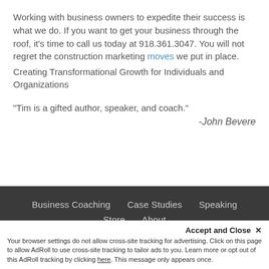Working with business owners to expedite their success is what we do. If you want to get your business through the roof, it's time to call us today at 918.361.3047. You will not regret the construction marketing moves we put in place.
Creating Transformational Growth for Individuals and Organizations
"Tim is a gifted author, speaker, and coach."
-John Bevere
Business Coaching   Case Studies   Speaking   Store   About
Accept and Close ✕
Your browser settings do not allow cross-site tracking for advertising. Click on this page to allow AdRoll to use cross-site tracking to tailor ads to you. Learn more or opt out of this AdRoll tracking by clicking here. This message only appears once.